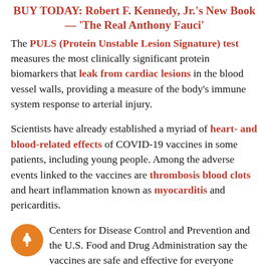BUY TODAY: Robert F. Kennedy, Jr.'s New Book — 'The Real Anthony Fauci'
The PULS (Protein Unstable Lesion Signature) test measures the most clinically significant protein biomarkers that leak from cardiac lesions in the blood vessel walls, providing a measure of the body's immune system response to arterial injury.
Scientists have already established a myriad of heart- and blood-related effects of COVID-19 vaccines in some patients, including young people. Among the adverse events linked to the vaccines are thrombosis blood clots and heart inflammation known as myocarditis and pericarditis.
Centers for Disease Control and Prevention and the U.S. Food and Drug Administration say the vaccines are safe and effective for everyone